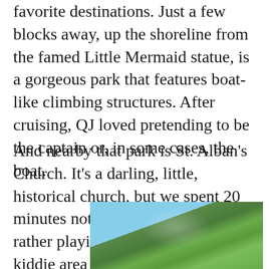favorite destinations. Just a few blocks away, up the shoreline from the famed Little Mermaid statue, is a gorgeous park that features boat-like climbing structures. After cruising, QJ loved pretending to be the captain or, in some cases, the boat.
And nearby that park is St. Alban’s Church. It’s a darling, little, historical church, but we spent 20 minutes not taking in its beauty, but rather playing with blocks in the kiddie area in the back of the church.
[Figure (photo): Outdoor photo showing green trees and foliage against a blue sky]